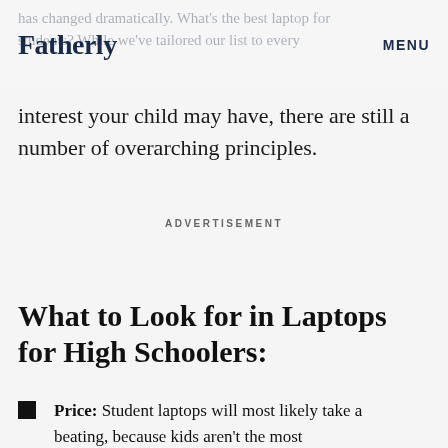Fatherly | MENU
has changed dramatically. What’s the best laptop for students? While we’ve tailored our list to every interest your child may have, there are still a number of overarching principles.
ADVERTISEMENT
What to Look for in Laptops for High Schoolers:
Price: Student laptops will most likely take a beating, because kids aren’t the most